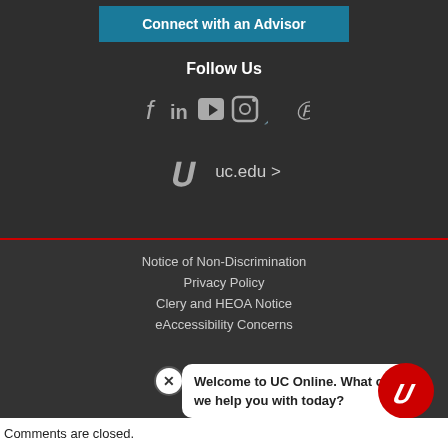Connect with an Advisor
Follow Us
[Figure (other): Social media icons: Facebook, LinkedIn, YouTube, Instagram, Pinterest]
uc.edu >
Notice of Non-Discrimination
Privacy Policy
Clery and HEOA Notice
eAccessibility Concerns
[Figure (other): Chat bubble with UC logo: Welcome to UC Online. What can we help you with today?]
Comments are closed.